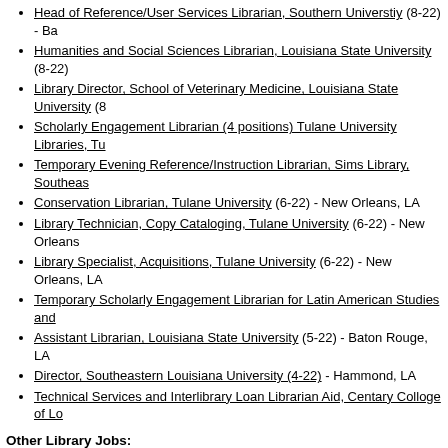Head of Reference/User Services Librarian, Southern Universtiy (8-22) - Ba…
Humanities and Social Sciences Librarian, Louisiana State University (8-22)
Library Director, School of Veterinary Medicine, Louisiana State University (8…
Scholarly Engagement Librarian (4 positions) Tulane University Libraries, Tu…
Temporary Evening Reference/Instruction Librarian, Sims Library, Southeas…
Conservation Librarian, Tulane University (6-22) - New Orleans, LA
Library Technician, Copy Cataloging, Tulane University (6-22) - New Orleans…
Library Specialist, Acquisitions, Tulane University (6-22) - New Orleans, LA
Temporary Scholarly Engagement Librarian for Latin American Studies and…
Assistant Librarian, Louisiana State University (5-22) - Baton Rouge, LA
Director, Southeastern Louisiana University (4-22) - Hammond, LA
Technical Services and Interlibrary Loan Librarian Aid, Centary Colloge of Lo…
Other Library Jobs:
Library Technician, Poynter Legislative Research Library (8-22) - Baton Rou…
Student Worker Position for LA Dept. of Economic Development Library (8-2…
State Library of Louisiana Jobs:
Library Consultant (12-21)
IT Technical Support Supervisor (12-21)
State Civil Service Jobs: